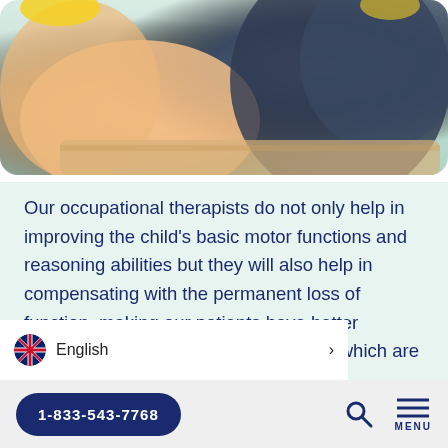[Figure (photo): Close-up photo of a child playing or doing an activity, showing hands and back, cropped at top portion of page]
Our occupational therapists do not only help in improving the child's basic motor functions and reasoning abilities but they will also help in compensating with the permanent loss of function, making our patients have better independence and quality of life. All of which are necessary to independent living.
English > | 1-833-543-7768 | MENU